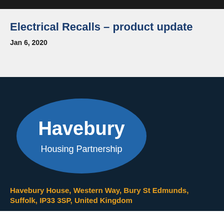Electrical Recalls – product update
Jan 6, 2020
[Figure (logo): Havebury Housing Partnership logo — white text on a blue oval shape, on a dark navy background]
Havebury House, Western Way, Bury St Edmunds, Suffolk, IP33 3SP, United Kingdom